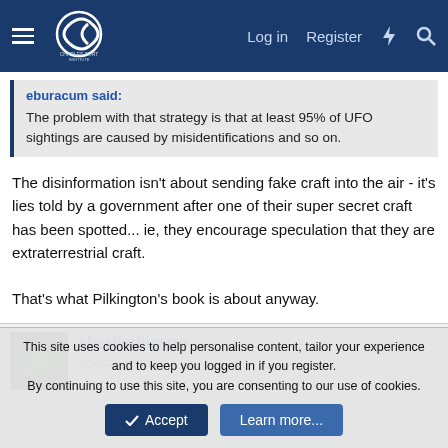Charles Fort Institute forum header with Log in, Register, and search icons
eburacum said:
The problem with that strategy is that at least 95% of UFO sightings are caused by misidentifications and so on.
The disinformation isn't about sending fake craft into the air - it's lies told by a government after one of their super secret craft has been spotted... ie, they encourage speculation that they are extraterrestrial craft.

That's what Pilkington's book is about anyway.
sherbetbizarre
Special Branch
This site uses cookies to help personalise content, tailor your experience and to keep you logged in if you register.
By continuing to use this site, you are consenting to our use of cookies.